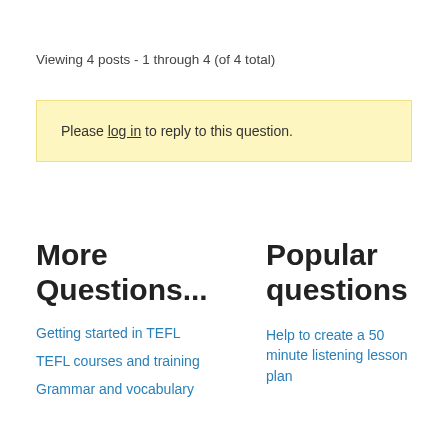Viewing 4 posts - 1 through 4 (of 4 total)
Please log in to reply to this question.
More Questions...
Popular questions
Getting started in TEFL
TEFL courses and training
Grammar and vocabulary
Help to create a 50 minute listening lesson plan